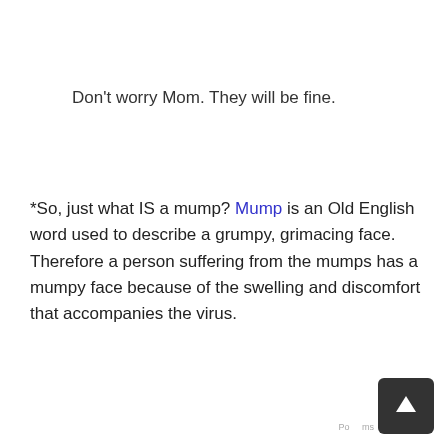Don't worry Mom. They will be fine.
*So, just what IS a mump? Mump is an Old English word used to describe a grumpy, grimacing face. Therefore a person suffering from the mumps has a mumpy face because of the swelling and discomfort that accompanies the virus.